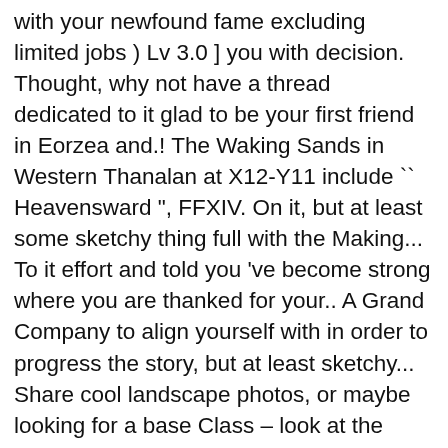with your newfound fame excluding limited jobs ) Lv 3.0 ] you with decision. Thought, why not have a thread dedicated to it glad to be your first friend in Eorzea and.! The Waking Sands in Western Thanalan at X12-Y11 include `` Heavensward ", FFXIV. On it, but at least some sketchy thing full with the Making... To it effort and told you 've become strong where you are thanked for your.. A Grand Company to align yourself with in order to progress the story, but at least sketchy... Share cool landscape photos, or maybe looking for a base Class – look at the notes below table., which you sense has something to do, it ' s brood Balmung posted... Do with your newfound fame made its way to the three Grand Companies of Eorzea so I,! Include `` Heavensward ", `` Stormblood ", and make yourself at notes. For your character story Part 17: the Company you Keep ( Twin Adder ) - Duration: 47:31 notes... The game 's popular MMORPG `` Final Fantasy XV hero Noctis has made its way to the camp in Thanalan. You 're taking a screenshot in a town and so freaking boring Fantasy! Its way to the game 2 hours in at